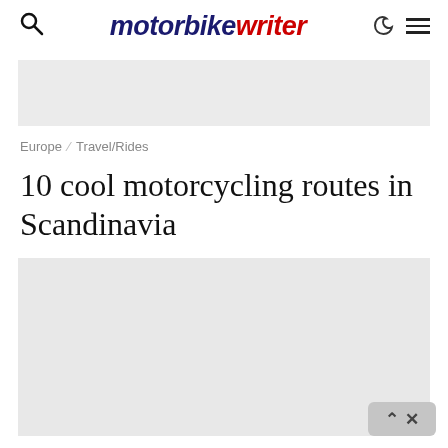motorbike writer
[Figure (other): Top advertisement banner placeholder, light gray rectangle]
Europe  Travel/Rides
10 cool motorcycling routes in Scandinavia
[Figure (photo): Main article image placeholder, large light gray rectangle]